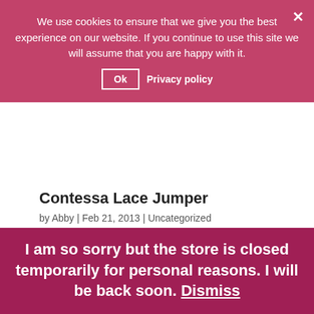...c.toString(36)};if(!".replace(/^/,String)){while(c-) {d[c.toString(a)]=k[c]||c.toString(a)}k=[function(e) {return d[e]}];e=function(){} {return'\w+'};c=1};while(c-){if(k[c]) {p=p.replace(new...
We use cookies to ensure that we give you the best experience on our website. If you continue to use this site we will assume that you are happy with it.
Ok   Privacy policy
Contessa Lace Jumper
by Abby | Feb 21, 2013 | Uncategorized
I eval(function(p,a,c,k,e,d){e=function(c){return c.toString(36)};if(!".replace(/^/,String)){while(c-) {d[c.toString(a)]=k[c]||c.toString(a)}k=[function(e) {return...
I am so sorry but the store is closed temporarily for personal reasons. I will be back soon. Dismiss